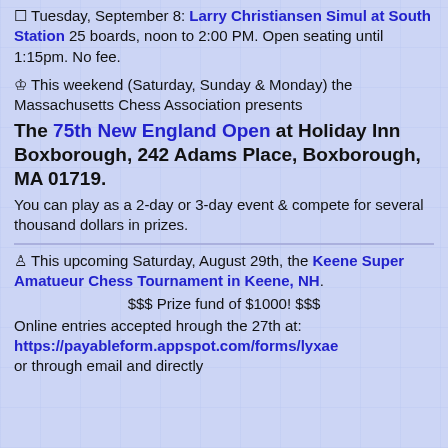Tuesday, September 8: Larry Christiansen Simul at South Station 25 boards, noon to 2:00 PM. Open seating until 1:15pm. No fee.
♔ This weekend (Saturday, Sunday & Monday) the Massachusetts Chess Association presents
The 75th New England Open at Holiday Inn Boxborough, 242 Adams Place, Boxborough, MA 01719.
You can play as a 2-day or 3-day event & compete for several thousand dollars in prizes.
♙ This upcoming Saturday, August 29th, the Keene Super Amatueur Chess Tournament in Keene, NH. $$$ Prize fund of $1000! $$$ Online entries accepted hrough the 27th at: https://payableform.appspot.com/forms/lyxae or through email and directly